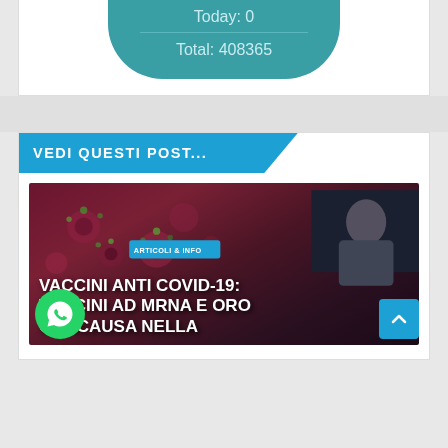Today: 0
Total: 408365
VEDI QUESTI POST...
[Figure (screenshot): Article thumbnail showing a dark background with virus particles, a man in the top right corner, a blue ARTICOLI & INFO badge, and white bold text reading VACCINI ANTI COVID-19: VACCINI AD mRNA E ORO CONCAUSA NELLA]
VACCINI ANTI COVID-19: VACCINI AD mRNA E ORO CONCAUSA NELLA